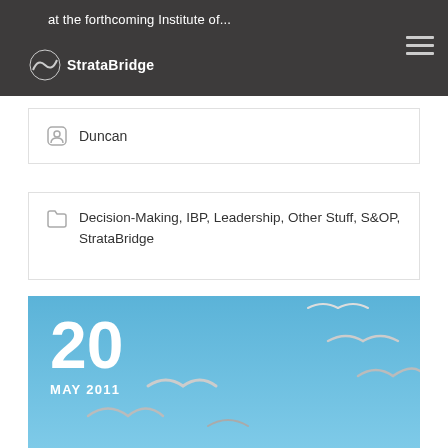at the forthcoming Institute of...
Duncan
Decision-Making, IBP, Leadership, Other Stuff, S&OP, StrataBridge
[Figure (photo): Photo of seagulls flying against a blue sky with date overlay showing '20 MAY 2011']